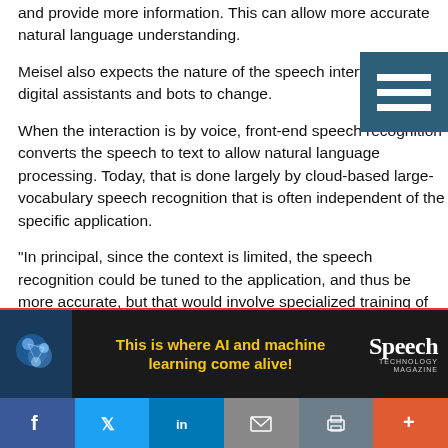and provide more information. This can allow more accurate natural language understanding.
Meisel also expects the nature of the speech interface in most digital assistants and bots to change.
When the interaction is by voice, front-end speech recognition converts the speech to text to allow natural language processing. Today, that is done largely by cloud-based large-vocabulary speech recognition that is often independent of the specific application.
“In principal, since the context is limited, the speech recognition could be tuned to the application, and thus be more accurate, but that would involve specialized training of the speech recognition software,” he says.
Meisel also expects to see more integration between natural language processing and speech recognition, “so that the
[Figure (screenshot): Advertisement banner: dark background with brain image, yellow bold text 'This is where AI and machine learning come alive!' and Speech Technology magazine logo in white]
[Figure (infographic): Social media share bar with Facebook, Twitter, LinkedIn, email, print, and more (+) buttons]